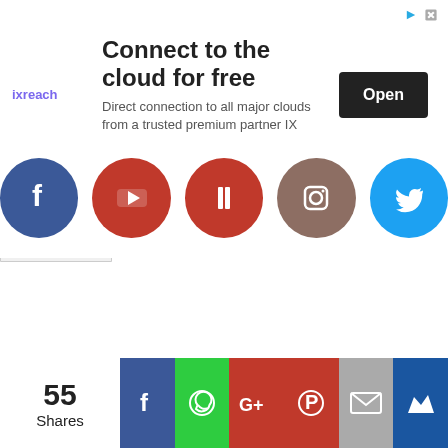[Figure (screenshot): Advertisement banner for IX Reach cloud connectivity service. Shows 'ixreach' logo, headline 'Connect to the cloud for free', description text 'Direct connection to all major clouds from a trusted premium partner IX Reach', and an 'Open' button.]
[Figure (screenshot): Yellow content area with a collapse/expand chevron button at top-left.]
[Figure (infographic): Row of five social media circular icons: Facebook (dark blue), YouTube (red), a red icon with bookmark/pillar symbol, Instagram (brown/tan), Twitter (light blue).]
[Figure (infographic): Social share bar showing '55 Shares' count, followed by colored share buttons: Facebook (blue), WhatsApp (green), Google+ (red), Pinterest (red), Email (grey), Crown/other (dark blue).]